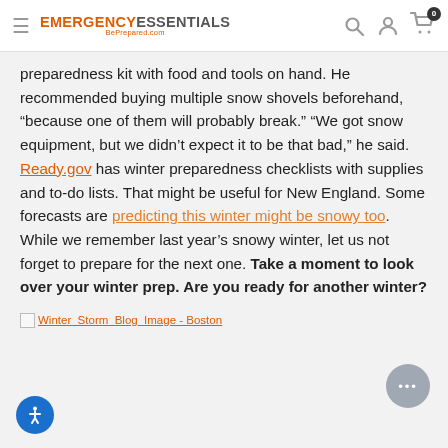EMERGENCY ESSENTIALS BePrepared.com
preparedness kit with food and tools on hand. He recommended buying multiple snow shovels beforehand, “because one of them will probably break.” “We got snow equipment, but we didn’t expect it to be that bad,” he said. Ready.gov has winter preparedness checklists with supplies and to-do lists. That might be useful for New England. Some forecasts are predicting this winter might be snowy too. While we remember last year’s snowy winter, let us not forget to prepare for the next one. Take a moment to look over your winter prep. Are you ready for another winter?
[Figure (photo): Winter_Storm_Blog_Image - Boston (broken image link)]